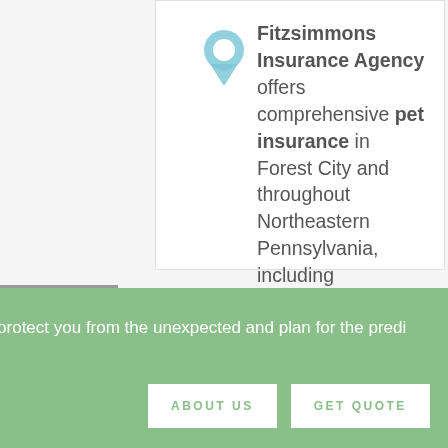Fitzsimmons Insurance Agency offers comprehensive pet insurance in Forest City and throughout Northeastern Pennsylvania, including Carbondale, Scranton and Honesdale.
THE LATEST ARTICLES
protect you from the unexpected and plan for the predi
ABOUT US
GET QUOTE